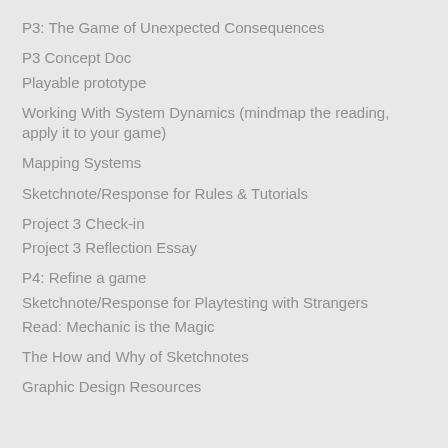P3: The Game of Unexpected Consequences
P3 Concept Doc
Playable prototype
Working With System Dynamics (mindmap the reading, apply it to your game)
Mapping Systems
Sketchnote/Response for Rules & Tutorials
Project 3 Check-in
Project 3 Reflection Essay
P4: Refine a game
Sketchnote/Response for Playtesting with Strangers
Read: Mechanic is the Magic
The How and Why of Sketchnotes
Graphic Design Resources